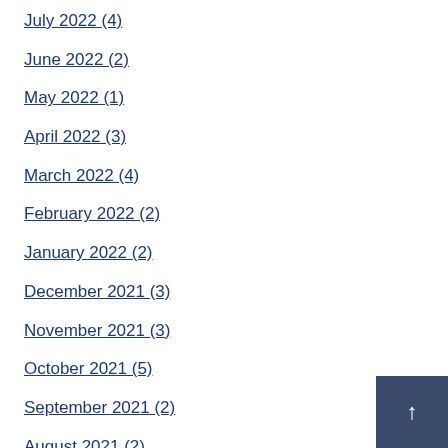July 2022 (4)
June 2022 (2)
May 2022 (1)
April 2022 (3)
March 2022 (4)
February 2022 (2)
January 2022 (2)
December 2021 (3)
November 2021 (3)
October 2021 (5)
September 2021 (2)
August 2021 (2)
July 2021 (2)